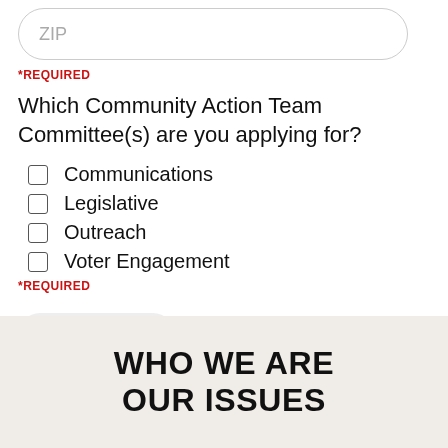ZIP
*REQUIRED
Which Community Action Team Committee(s) are you applying for?
Communications
Legislative
Outreach
Voter Engagement
*REQUIRED
SUBMIT
WHO WE ARE
OUR ISSUES